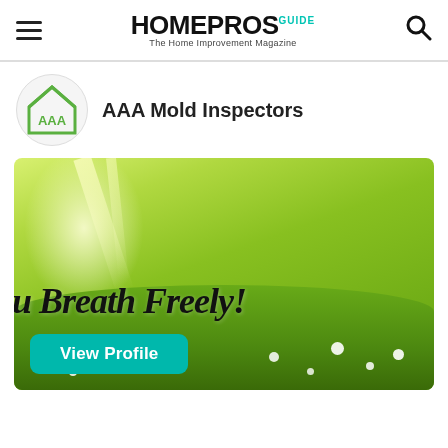HOMEPROS GUIDE — The Home Improvement Magazine
AAA Mold Inspectors
[Figure (illustration): Outdoor meadow with sunlight rays, green grass, and white flowers. Overlaid cursive text reads 'u Breath Freely!' with a teal 'View Profile' button.]